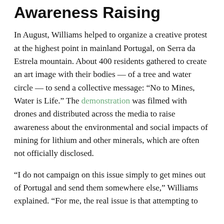Awareness Raising
In August, Williams helped to organize a creative protest at the highest point in mainland Portugal, on Serra da Estrela mountain. About 400 residents gathered to create an art image with their bodies — of a tree and water circle — to send a collective message: “No to Mines, Water is Life.” The demonstration was filmed with drones and distributed across the media to raise awareness about the environmental and social impacts of mining for lithium and other minerals, which are often not officially disclosed.
“I do not campaign on this issue simply to get mines out of Portugal and send them somewhere else,” Williams explained. “For me, the real issue is that attempting to